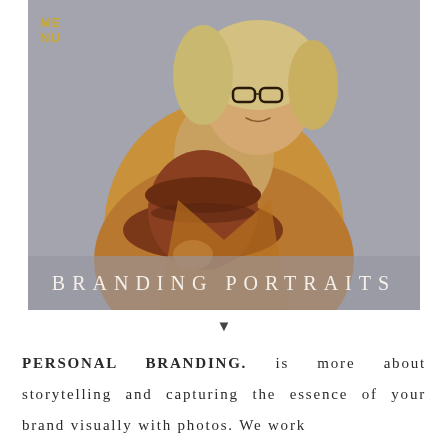[Figure (photo): Portrait photo of a blonde woman wearing glasses, a camel-colored coat, and holding a brown wide-brim hat against a concrete wall background. Text overlay at top-left reads MENU in gold. Title overlay at bottom reads BRANDING PORTRAITS in spaced serif lettering on a semi-transparent gray band.]
▼
PERSONAL BRANDING. is more about storytelling and capturing the essence of your brand visually with photos. We work